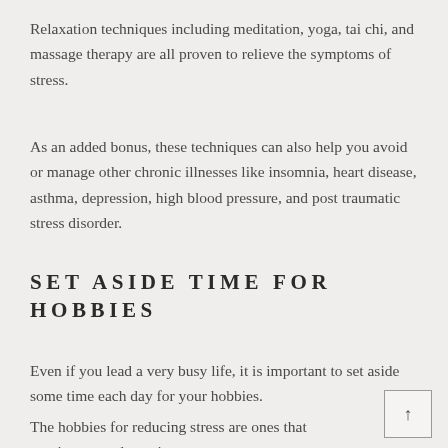Relaxation techniques including meditation, yoga, tai chi, and massage therapy are all proven to relieve the symptoms of stress.
As an added bonus, these techniques can also help you avoid or manage other chronic illnesses like insomnia, heart disease, asthma, depression, high blood pressure, and post traumatic stress disorder.
SET ASIDE TIME FOR HOBBIES
Even if you lead a very busy life, it is important to set aside some time each day for your hobbies.
The hobbies for reducing stress are ones that require you to be active.